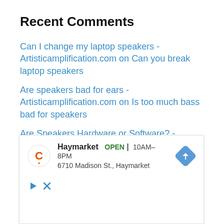Recent Comments
Can I change my laptop speakers - Artisticamplification.com on Can you break laptop speakers
Are speakers bad for ears - Artisticamplification.com on Is too much bass bad for speakers
Are Speakers Hardware or Software? - Artisticamplification.com on How long do speakers usually last
Will Speakers Work With Any Receiver? - Artisticamplification.com on How to Test
[Figure (screenshot): Google Maps advertisement overlay showing Haymarket store: OPEN 10AM-8PM, 6710 Madison St., Haymarket, with navigation arrow icon and play/close buttons.]